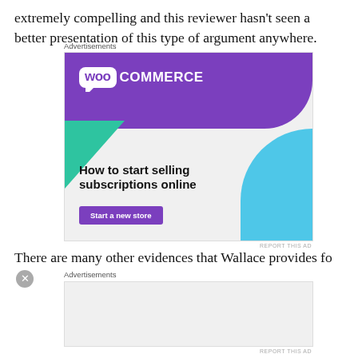extremely compelling and this reviewer hasn't seen a better presentation of this type of argument anywhere.
[Figure (screenshot): WooCommerce advertisement banner: purple header with WooCommerce logo, green triangle accent, blue curve decoration, headline 'How to start selling subscriptions online', purple 'Start a new store' button]
There are many other evidences that Wallace provides fo
Advertisements
[Figure (screenshot): Second advertisements placeholder area, partially visible at bottom of page]